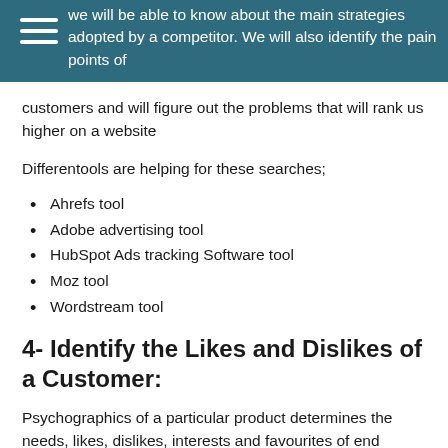we will be able to know about the main strategies adopted by a competitor. We will also identify the pain points of customers and will figure out the problems that will rank us higher on a website
Differentools are helping for these searches;
Ahrefs tool
Adobe advertising tool
HubSpot Ads tracking Software tool
Moz tool
Wordstream tool
4- Identify the Likes and Dislikes of a Customer:
Psychographics of a particular product determines the needs, likes, dislikes, interests and favourites of end